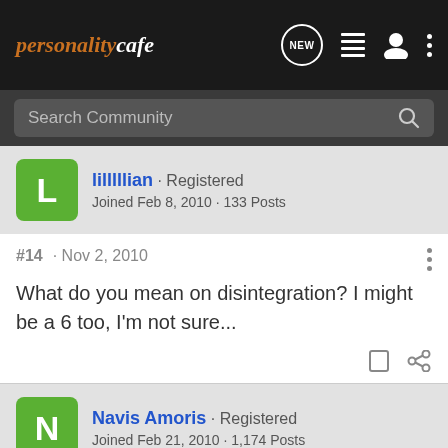personalitycafe - Search Community
lilllllian · Registered
Joined Feb 8, 2010 · 133 Posts
#14 · Nov 2, 2010
What do you mean on disintegration? I might be a 6 too, I'm not sure...
Navis Amoris · Registered
Joined Feb 21, 2010 · 1,174 Posts